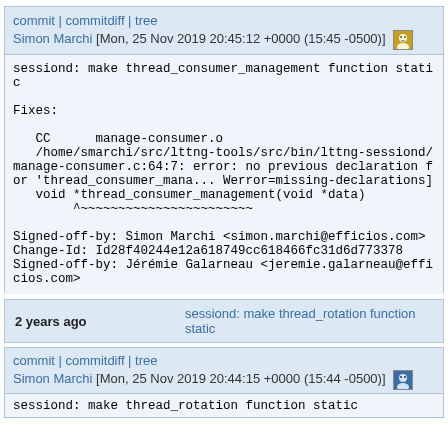commit | commitdiff | tree
Simon Marchi [Mon, 25 Nov 2019 20:45:12 +0000 (15:45 -0500)]
sessiond: make thread_consumer_management function static

Fixes:

   CC      manage-consumer.o
/home/smarchi/src/lttng-tools/src/bin/lttng-sessiond/manage-consumer.c:64:7: error: no previous declaration for 'thread_consumer_mana... Werror=missing-declarations]
void *thread_consumer_management(void *data)
     ^~~~~~~~~~~~~~~~~~~~~~~~

Signed-off-by: Simon Marchi <simon.marchi@efficios.com>
Change-Id: Id28f40244e12a618749cc618466fc31d6d773378
Signed-off-by: Jérémie Galarneau <jeremie.galarneau@efficios.com>
2 years ago    sessiond: make thread_rotation function static
commit | commitdiff | tree
Simon Marchi [Mon, 25 Nov 2019 20:44:15 +0000 (15:44 -0500)]
sessiond: make thread_rotation function static